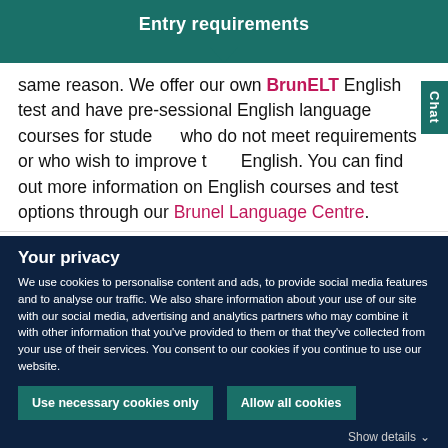Entry requirements
same reason. We offer our own BrunELT English test and have pre-sessional English language courses for students who do not meet requirements or who wish to improve their English. You can find out more information on English courses and test options through our Brunel Language Centre.
Your privacy
We use cookies to personalise content and ads, to provide social media features and to analyse our traffic. We also share information about your use of our site with our social media, advertising and analytics partners who may combine it with other information that you've provided to them or that they've collected from your use of their services. You consent to our cookies if you continue to use our website.
Use necessary cookies only
Allow all cookies
Show details